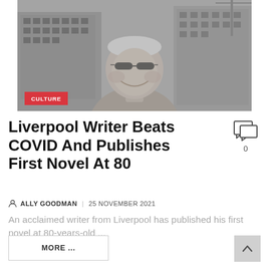[Figure (photo): Black and white photograph of an elderly man wearing sunglasses, smiling, with a building/cityscape in the background. A red 'CULTURE' badge overlays the bottom-left of the image.]
Liverpool Writer Beats COVID And Publishes First Novel At 80
ALLY GOODMAN | 25 NOVEMBER 2021
An acclaimed writer from Liverpool has published his first novel at 80-years-old ...
MORE ...